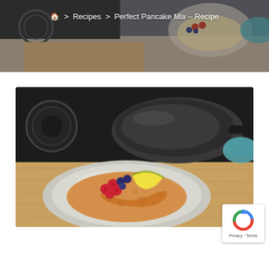Home > Recipes > Perfect Pancake Mix – Recipe
[Figure (photo): A plate with a golden pancake topped with raspberries, blueberries, a lemon wedge, and syrup, placed on a wooden board. In the background is a black induction cooktop with a non-stick frying pan.]
PERFECT PANCAKE MIX – RECIPE